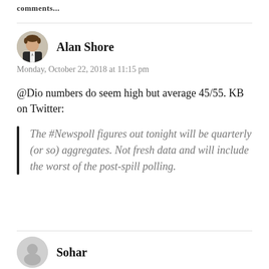comments...
Alan Shore
Monday, October 22, 2018 at 11:15 pm
@Dio numbers do seem high but average 45/55. KB on Twitter:
The #Newspoll figures out tonight will be quarterly (or so) aggregates. Not fresh data and will include the worst of the post-spill polling.
Sohar
Monday, October 22, 2018 at 11:17 pm